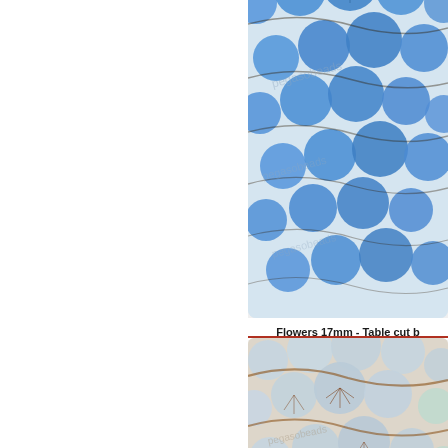[Figure (photo): Blue flower-shaped glass beads arranged in a bracelet, table cut, Czech glass beads, blue with picasso finish]
Flowers 17mm - Table cut b
[Figure (photo): Light blue / pale sky blue flower-shaped glass beads arranged in a bracelet, table cut, with picasso bronze finish]
Flowers 17mm - Table cut b
[Figure (photo): Golden/amber flower-shaped glass beads arranged in a bracelet, partially visible at bottom of page]